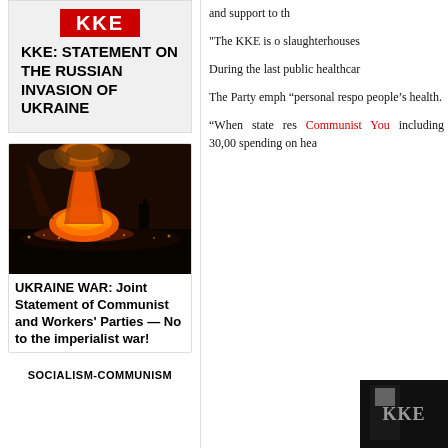[Figure (logo): KKE red logo banner]
KKE: STATEMENT ON THE RUSSIAN INVASION OF UKRAINE
[Figure (photo): Nighttime explosion with large fireball and smoke cloud, city lights in background - Ukraine war imagery]
UKRAINE WAR: Joint Statement of Communist and Workers' Parties — No to the imperialist war!
SOCIALISM-COMMUNISM
and support to th
"The KKE is o slaughterhouses
During the last public healthcar
The Party emph “personal respo people’s health.
“When state res Communist You including 30,00 spending on hea
[Figure (photo): Partial image of protest/political imagery, dark background]